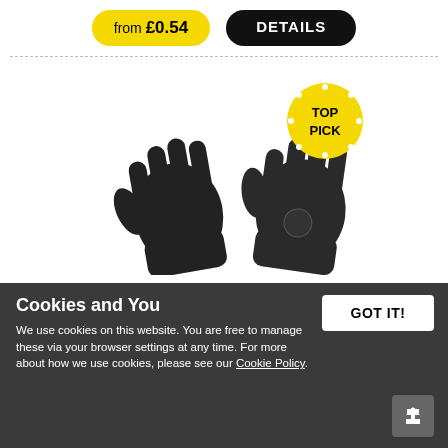from £0.54
DETAILS
[Figure (photo): Two black PU-coated work gloves displayed with a yellow 'TOP PICK' badge overlay]
Cookies and You
We use cookies on this website. You are free to manage these via your browser settings at any time. For more about how we use cookies, please see our Cookie Policy.
GOT IT!
SUPERTOUCH ELECTRON PU COATED FIVER
77
In stock now